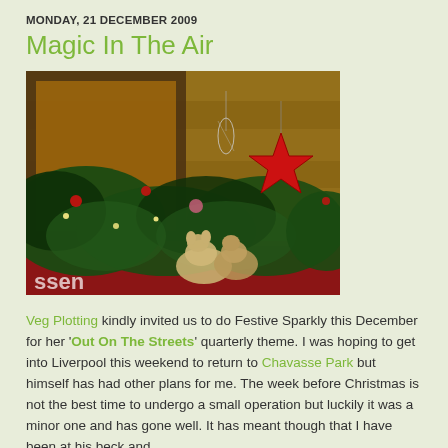MONDAY, 21 DECEMBER 2009
Magic In The Air
[Figure (photo): Christmas decorations in a window box or storefront display: evergreen branches, red star ornament, colourful baubles, and small animal figurines, with wood panelling visible in background. Text 'ssen' partially visible at bottom left.]
Veg Plotting kindly invited us to do Festive Sparkly this December for her 'Out On The Streets' quarterly theme. I was hoping to get into Liverpool this weekend to return to Chavasse Park but himself has had other plans for me. The week before Christmas is not the best time to undergo a small operation but luckily it was a minor one and has gone well. It has meant though that I have been at his beck and